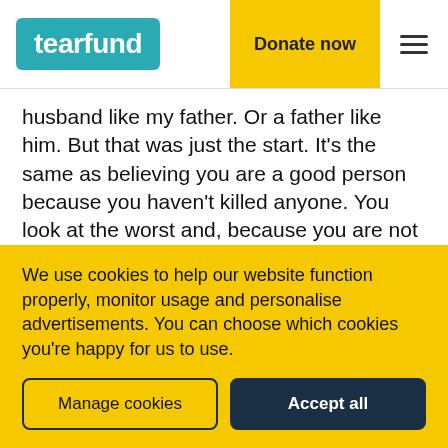tearfund | Donate now
husband like my father. Or a father like him. But that was just the start. It’s the same as believing you are a good person because you haven’t killed anyone. You look at the worst and, because you are not like them, you believe you must be a good person in comparison.
We use cookies to help our website function properly, monitor usage and personalise advertisements. You can choose which cookies you’re happy for us to use.
Manage cookies
Accept all